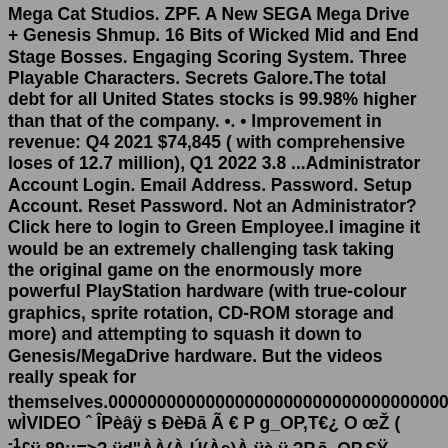Mega Cat Studios. ZPF. A New SEGA Mega Drive + Genesis Shmup. 16 Bits of Wicked Mid and End Stage Bosses. Engaging Scoring System. Three Playable Characters. Secrets Galore.The total debt for all United States stocks is 99.98% higher than that of the company. •. • Improvement in revenue: Q4 2021 $74,845 ( with comprehensive loses of 12.7 million), Q1 2022 3.8 ...Administrator Account Login. Email Address. Password. Setup Account. Reset Password. Not an Administrator? Click here to login to Green Employee.I imagine it would be an extremely challenging task taking the original game on the enormously more powerful PlayStation hardware (with true-colour graphics, sprite rotation, CD-ROM storage and more) and attempting to squash it down to Genesis/MegaDrive hardware. But the videos really speak for themselves.00000000000000000000000000000000000000000...UᵃxëK7400éL wÌVIDEO ˆ ÎPèâÿ s ÐèÐā Ã € P g_OP,T€¿ O œŽ ( ⁻¹£ÿ 89:;=>? ÿd"ÀÀ(À Ú(Àe)À ÿà ÿ ?P,ā_OP,SŸ >@ó¿ß(¢_āÿ 99ụ tœÿ ẁf^£YÃ£ÐO1?° ò^ ò